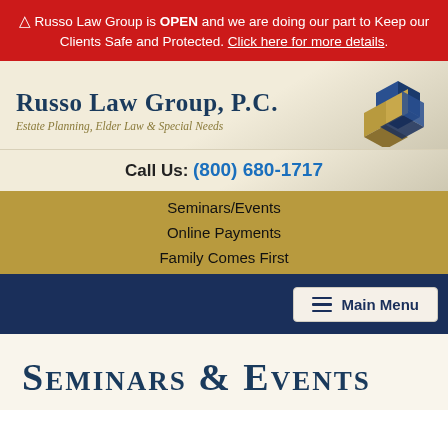⚠ Russo Law Group is OPEN and we are doing our part to Keep our Clients Safe and Protected. Click here for more details.
[Figure (logo): Russo Law Group, P.C. logo with 3D cube graphic, tagline: Estate Planning, Elder Law & Special Needs]
Call Us: (800) 680-1717
Seminars/Events
Online Payments
Family Comes First
Main Menu
Seminars & Events